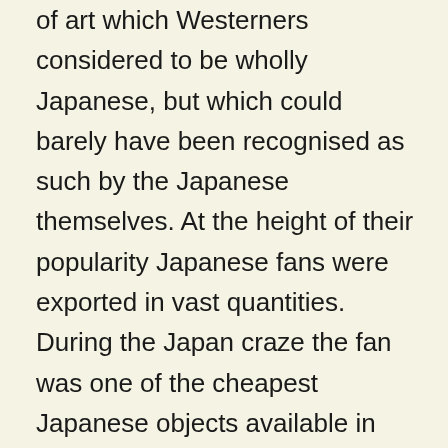of art which Westerners considered to be wholly Japanese, but which could barely have been recognised as such by the Japanese themselves. At the height of their popularity Japanese fans were exported in vast quantities. During the Japan craze the fan was one of the cheapest Japanese objects available in the West and, for the average person, was possibly the only Japanese item they could hope to possess. One of the most noticeable features of the relatively cheap Japanese fans which flooded the western markets in their millions was the fact that they were comparatively large and opened up to a